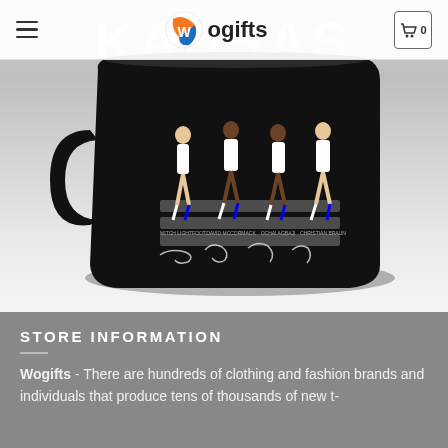Wogifts store header with hamburger menu, Wogifts logo, and cart button showing 0
[Figure (photo): Black coffee mug featuring Kansas Jayhawks players walking Abbey Road style across a crosswalk, with player names and signatures: Mitch Lightfoot, David McCormack, Ochai Agbaji, Christian Braun]
STORE INFORMATION
Wogifts - There are hundreds of clothing and fashion brands and individuals that produce tens of thousands of new t-